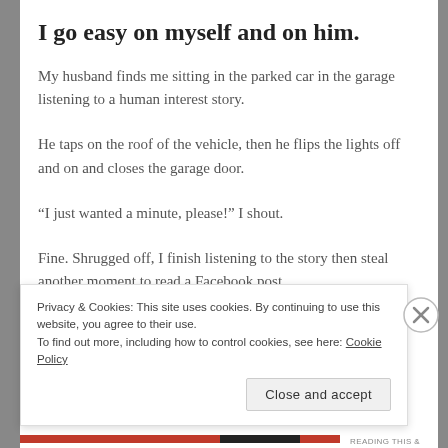I go easy on myself and on him.
My husband finds me sitting in the parked car in the garage listening to a human interest story.
He taps on the roof of the vehicle, then he flips the lights off and on and closes the garage door.
“I just wanted a minute, please!” I shout.
Fine. Shrugged off, I finish listening to the story then steal another moment to read a Facebook post.
Privacy & Cookies: This site uses cookies. By continuing to use this website, you agree to their use.
To find out more, including how to control cookies, see here: Cookie Policy
Close and accept